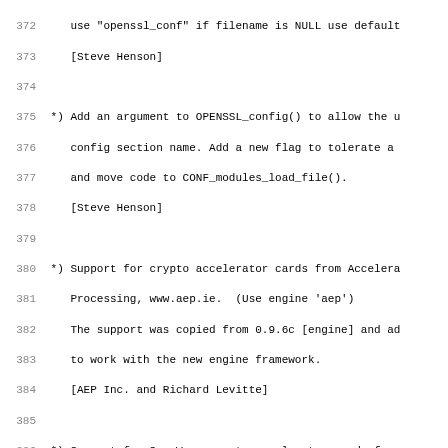Code/changelog listing lines 372-403 showing OpenSSL changelog entries including: use openssl_conf if filename is NULL use default [Steve Henson]; Add an argument to OPENSSL_config() to allow the config section name; Support for crypto accelerator cards from Accelera Processing www.aep.ie; Support for SureWare crypto accelerator cards; Have the CHIL engine fork-safe; Make it possible to produce shared libraries on Re; Add the configuration target debug-linux-ppro.